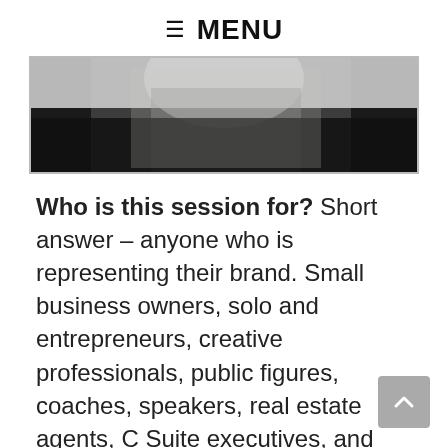≡ MENU
[Figure (photo): Partial photo of a person in a white shirt, partially cropped, dark background]
Who is this session for? Short answer – anyone who is representing their brand. Small business owners, solo and entrepreneurs, creative professionals, public figures, coaches, speakers, real estate agents, C Suite executives, and more!